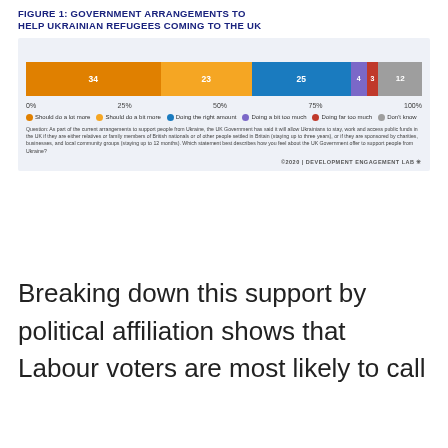[Figure (stacked-bar-chart): FIGURE 1: GOVERNMENT ARRANGEMENTS TO HELP UKRAINIAN REFUGEES COMING TO THE UK]
Breaking down this support by political affiliation shows that Labour voters are most likely to call for more support. 79 percent